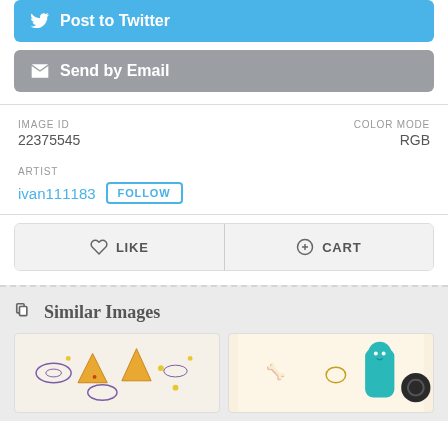Post to Twitter
Send by Email
IMAGE ID
22375545
COLOR MODE
RGB
ARTIST
ivan111183
FOLLOW
LIKE
CART
Similar Images
[Figure (photo): Thumbnail of food/pizza pattern illustration]
[Figure (photo): Thumbnail of colorful animal/pet cartoon illustration]